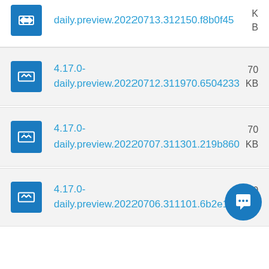daily.preview.20220713.312150.f8b0f45
4.17.0-daily.preview.20220712.311970.6504233
4.17.0-daily.preview.20220707.311301.219b860
4.17.0-daily.preview.20220706.311101.6b2e1d7